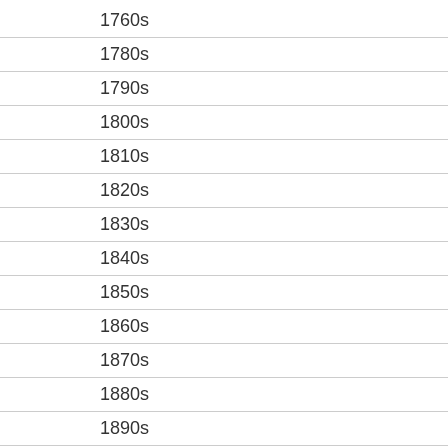1760s
1780s
1790s
1800s
1810s
1820s
1830s
1840s
1850s
1860s
1870s
1880s
1890s
1900s